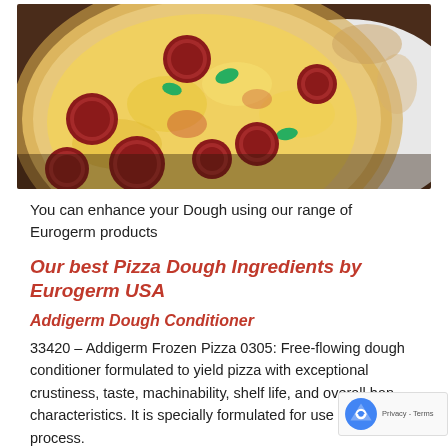[Figure (photo): Close-up photo of a pepperoni and green pepper pizza with melted cheese and golden crust on a white plate]
You can enhance your Dough using our range of Eurogerm products
Our best Pizza Dough Ingredients by Eurogerm USA
Addigerm Dough Conditioner
33420 – Addigerm Frozen Pizza 0305: Free-flowing dough conditioner formulated to yield pizza with exceptional crustiness, taste, machinability, shelf life, and overall han characteristics. It is specially formulated for use in a fro process.